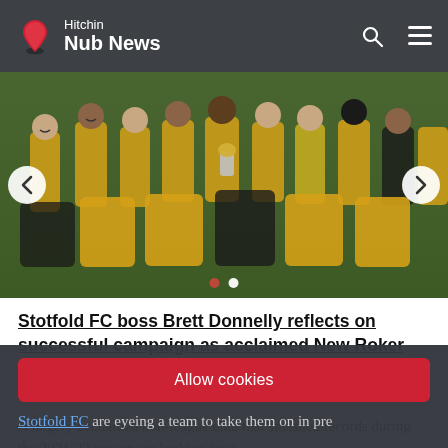Hitchin Nub News
[Figure (photo): Football team in yellow and black jerseys celebrating with a trophy, sitting and standing on grass.]
Stotfold FC boss Brett Donnelly reflects on successful campaign as acclaimed New Roker Park outfit seek pre-season opponent after cancellation
A hugely-acclaimed non-league club that smashed records during the 2021-22 season are looking for a
Stotfold FC are eyeing a team to take them on in pre
Allow cookies